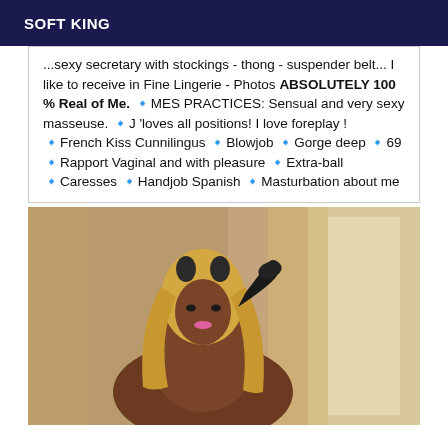SOFT KING
...sexy secretary with stockings - thong - suspender belt... I like to receive in Fine Lingerie - Photos ABSOLUTELY 100 % Real of Me. 🔹MES PRACTICES: Sensual and very sexy masseuse. 🔹J 'loves all positions! I love foreplay ! 🔹French Kiss Cunnilingus 🔹Blowjob 🔹Gorge deep 🔹69 🔹Rapport Vaginal and with pleasure 🔹Extra-ball 🔹Caresses 🔹Handjob Spanish 🔹Masturbation about me
[Figure (photo): A person wearing cat ears headband and a black glove, with long blonde hair, posing indoors against a beige/tan wall background.]